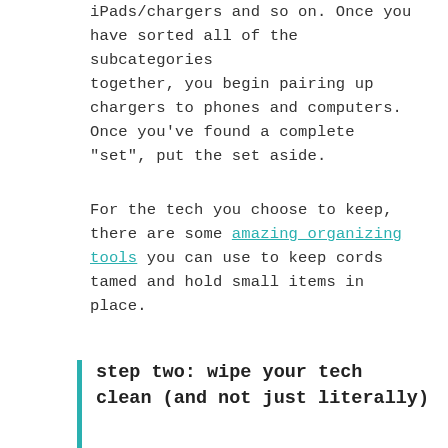iPads/chargers and so on. Once you have sorted all of the subcategories together, you begin pairing up chargers to phones and computers. Once you've found a complete "set", put the set aside.
For the tech you choose to keep, there are some amazing organizing tools you can use to keep cords tamed and hold small items in place.
step two: wipe your tech clean (and not just literally)
No matter if you choose to sell, donate or dispose of your old devices/electr... you will want